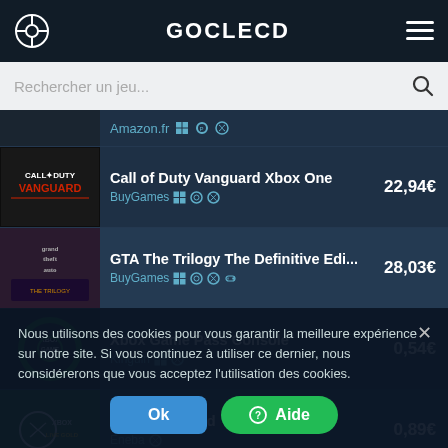GOCLECD
Rechercher un jeu...
Amazon.fr — partial row
Call of Duty Vanguard Xbox One | BuyGames | 22,94€
GTA The Trilogy The Definitive Edi... | BuyGames | 28,03€
Xbox Game Pass Console | Kinguin | 0,54€
Xbox Live Gold | Eneba | 0,89€
Xbox Gift Card | 4,41€
Nous utilisons des cookies pour vous garantir la meilleure expérience sur notre site. Si vous continuez à utiliser ce dernier, nous considérerons que vous acceptez l'utilisation des cookies.
Ok
? Aide